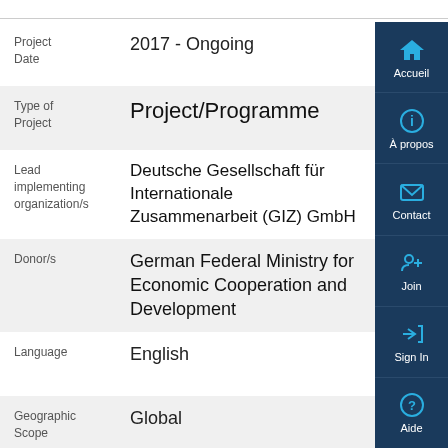| Field | Value |
| --- | --- |
| Project Date | 2017 - Ongoing |
| Type of Project | Project/Programme |
| Lead implementing organization/s | Deutsche Gesellschaft für Internationale Zusammenarbeit (GIZ) GmbH |
| Donor/s | German Federal Ministry for Economic Cooperation and Development |
| Language | English |
| Geographic Scope | Global |
| Working Group | Off |
| Output |  |